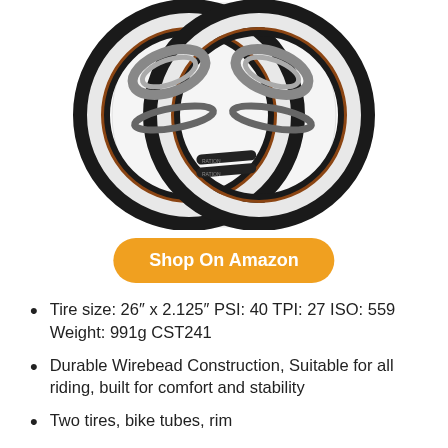[Figure (photo): Product photo showing two bicycle tires with white sidewalls and brown stripe, along with inner tubes, rim strips, and tire levers arranged in a circular composition.]
Shop On Amazon
Tire size: 26″ x 2.125″ PSI: 40 TPI: 27 ISO: 559 Weight: 991g CST241
Durable Wirebead Construction, Suitable for all riding, built for comfort and stability
Two tires, bike tubes, rim strips, and tire levers